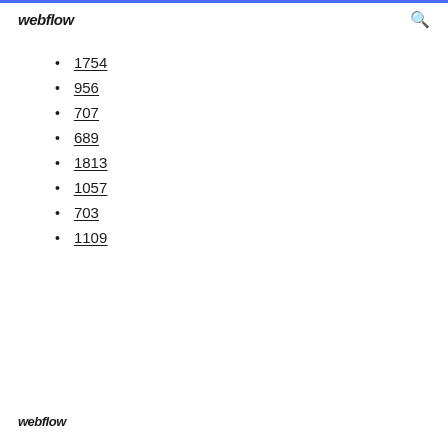webflow
1754
956
707
689
1813
1057
703
1109
webflow